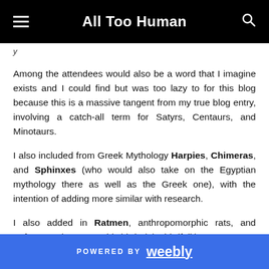All Too Human
y
Among the attendees would also be a word that I imagine exists and I could find but was too lazy to for this blog because this is a massive tangent from my true blog entry, involving a catch-all term for Satyrs, Centaurs, and Minotaurs.
I also included from Greek Mythology Harpies, Chimeras, and Sphinxes (who would also take on the Egyptian mythology there as well as the Greek one), with the intention of adding more similar with research.
I also added in Ratmen, anthropomorphic rats, and Avians, anthropomorphic birds (aka birdfolk).
POWERED BY weebly